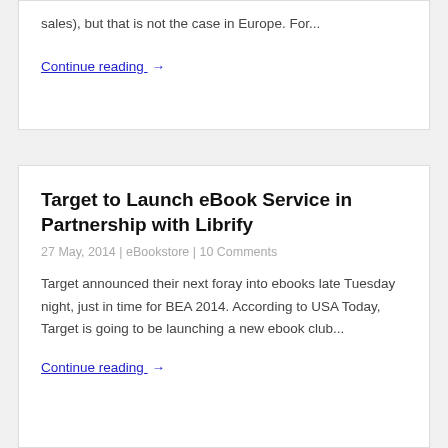sales), but that is not the case in Europe. For...
Continue reading →
Target to Launch eBook Service in Partnership with Librify
27 May, 2014 | eBookstore | 10 Comments
Target announced their next foray into ebooks late Tuesday night, just in time for BEA 2014. According to USA Today, Target is going to be launching a new ebook club...
Continue reading →